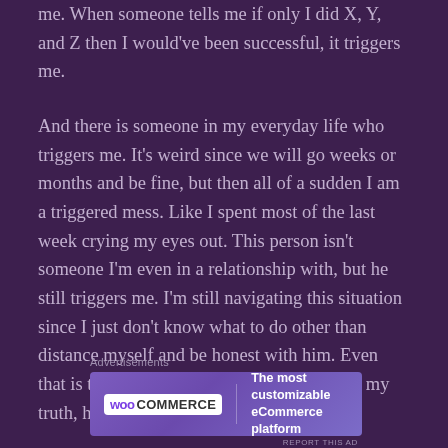me. When someone tells me if only I did X, Y, and Z then I would've been successful, it triggers me.
And there is someone in my everyday life who triggers me. It's weird since we will go weeks or months and be fine, but then all of a sudden I am a triggered mess. Like I spent most of the last week crying my eyes out. This person isn't someone I'm even in a relationship with, but he still triggers me. I'm still navigating this situation since I just don't know what to do other than distance myself and be honest with him. Even that is triggering though since when I speak my truth, he shuts it down.
Advertisements
[Figure (other): WooCommerce advertisement banner with logo on left and text 'The most customizable eCommerce platform' on right]